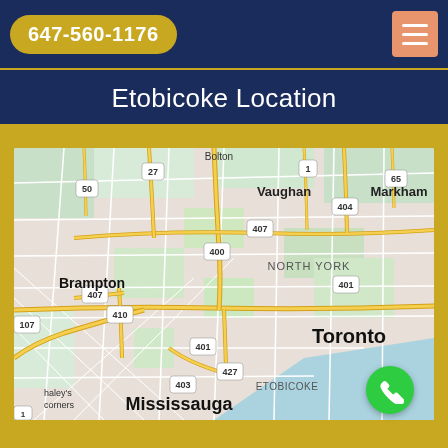647-560-1176
Etobicoke Location
[Figure (map): Google Maps view of Greater Toronto Area showing Vaughan, Markham, North York, Brampton, Mississauga, Toronto, Etobicoke and surrounding highways including 401, 400, 407, 404, 427, 403, 410, 407, 27, 50, 65, 1]